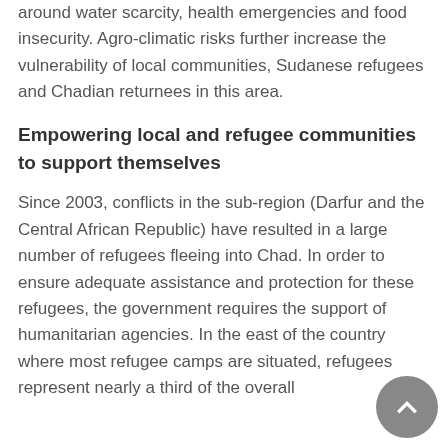around water scarcity, health emergencies and food insecurity. Agro-climatic risks further increase the vulnerability of local communities, Sudanese refugees and Chadian returnees in this area.
Empowering local and refugee communities to support themselves
Since 2003, conflicts in the sub-region (Darfur and the Central African Republic) have resulted in a large number of refugees fleeing into Chad. In order to ensure adequate assistance and protection for these refugees, the government requires the support of humanitarian agencies. In the east of the country where most refugee camps are situated, refugees represent nearly a third of the overall